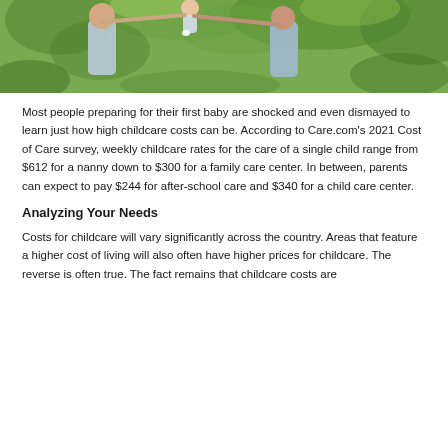[Figure (photo): A couple with a baby outdoors with green foliage background]
Most people preparing for their first baby are shocked and even dismayed to learn just how high childcare costs can be. According to Care.com's 2021 Cost of Care survey, weekly childcare rates for the care of a single child range from $612 for a nanny down to $300 for a family care center. In between, parents can expect to pay $244 for after-school care and $340 for a child care center.
Analyzing Your Needs
Costs for childcare will vary significantly across the country. Areas that feature a higher cost of living will also often have higher prices for childcare. The reverse is often true. The fact remains that childcare costs are